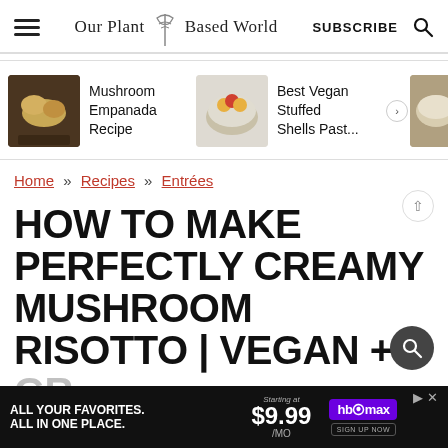Our Plant Based World | SUBSCRIBE
[Figure (screenshot): Carousel with three recipe thumbnails: Mushroom Empanada Recipe, Best Vegan Stuffed Shells Past..., and a partially visible third item]
Home » Recipes » Entrées
HOW TO MAKE PERFECTLY CREAMY MUSHROOM RISOTTO | VEGAN + GR...
[Figure (screenshot): HBO Max ad banner at bottom: ALL YOUR FAVORITES. ALL IN ONE PLACE. Starting at $9.99/MO HBO max SIGN UP NOW]